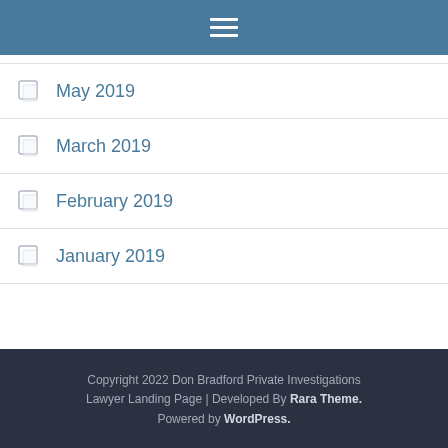☰ (hamburger menu icon)
May 2019
March 2019
February 2019
January 2019
Copyright 2022 Don Bradford Private Investigations Lawyer Landing Page | Developed By Rara Theme. Powered by WordPress.